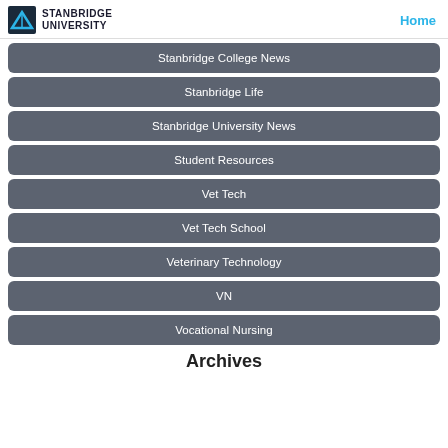Stanbridge University | Home
Stanbridge College News
Stanbridge Life
Stanbridge University News
Student Resources
Vet Tech
Vet Tech School
Veterinary Technology
VN
Vocational Nursing
Archives